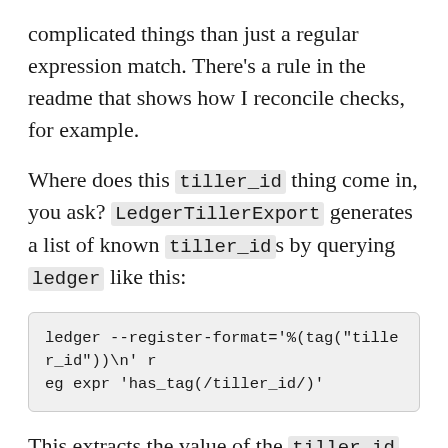complicated things than just a regular expression match. There's a rule in the readme that shows how I reconcile checks, for example.
Where does this tiller_id thing come in, you ask? LedgerTillerExport generates a list of known tiller_ids by querying ledger like this:
ledger --register-format='%(tag("tiller_id"))\n' reg expr 'has_tag(/tiller_id/)'
This extracts the value of the tiller_id tag for every transaction that has one applied. In Ruby we then split the value on commas because I have a